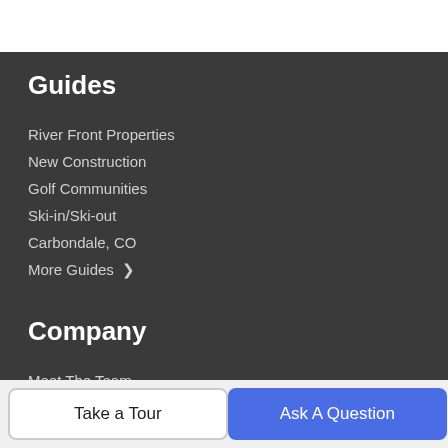Guides
River Front Properties
New Construction
Golf Communities
Ski-in/Ski-out
Carbondale, CO
More Guides >
Company
Meet The Team
Our Blog
Contact Us
Live Webcam
Take a Tour | Ask A Question